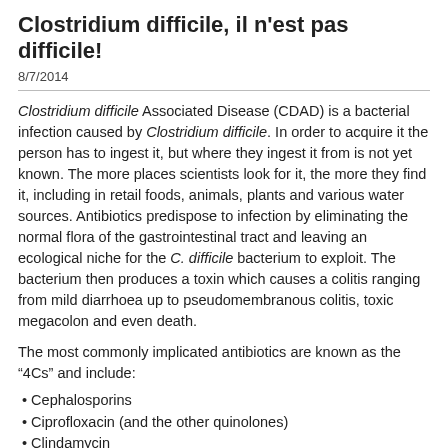Clostridium difficile, il n'est pas difficile!
8/7/2014
Clostridium difficile Associated Disease (CDAD) is a bacterial infection caused by Clostridium difficile. In order to acquire it the person has to ingest it, but where they ingest it from is not yet known. The more places scientists look for it, the more they find it, including in retail foods, animals, plants and various water sources. Antibiotics predispose to infection by eliminating the normal flora of the gastrointestinal tract and leaving an ecological niche for the C. difficile bacterium to exploit. The bacterium then produces a toxin which causes a colitis ranging from mild diarrhoea up to pseudomembranous colitis, toxic megacolon and even death.
The most commonly implicated antibiotics are known as the “4Cs” and include:
Cephalosporins
Ciprofloxacin (and the other quinolones)
Clindamycin
Co-amoxiclav